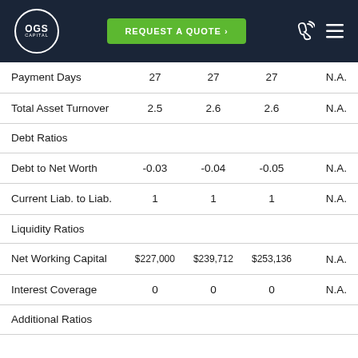[Figure (screenshot): OGS Capital navigation bar with logo, Request a Quote button, phone icon, and hamburger menu]
|  |  |  |  |  |
| --- | --- | --- | --- | --- |
| Payment Days | 27 | 27 | 27 | N.A. |
| Total Asset Turnover | 2.5 | 2.6 | 2.6 | N.A. |
| Debt Ratios |  |  |  |  |
| Debt to Net Worth | -0.03 | -0.04 | -0.05 | N.A. |
| Current Liab. to Liab. | 1 | 1 | 1 | N.A. |
| Liquidity Ratios |  |  |  |  |
| Net Working Capital | $227,000 | $239,712 | $253,136 | N.A. |
| Interest Coverage | 0 | 0 | 0 | N.A. |
| Additional Ratios |  |  |  |  |